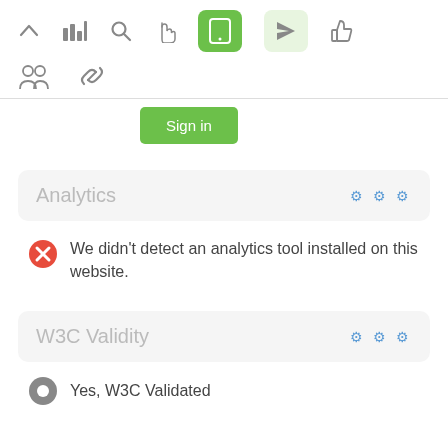[Figure (screenshot): Top toolbar with navigation icons: up arrow, bar chart, search, hand/cursor, green tablet icon (active), light green send/location icon, thumbs up icon]
[Figure (screenshot): Second toolbar row with group/people icon and chain link icon]
[Figure (screenshot): Green Sign in button]
Analytics
We didn't detect an analytics tool installed on this website.
W3C Validity
Yes, W3C Validated